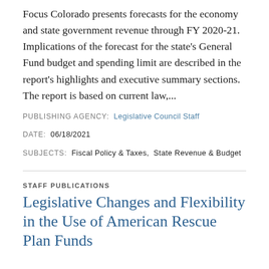Focus Colorado presents forecasts for the economy and state government revenue through FY 2020-21. Implications of the forecast for the state's General Fund budget and spending limit are described in the report's highlights and executive summary sections. The report is based on current law,...
PUBLISHING AGENCY: Legislative Council Staff
DATE: 06/18/2021
SUBJECTS: Fiscal Policy & Taxes,  State Revenue & Budget
STAFF PUBLICATIONS
Legislative Changes and Flexibility in the Use of American Rescue Plan Funds